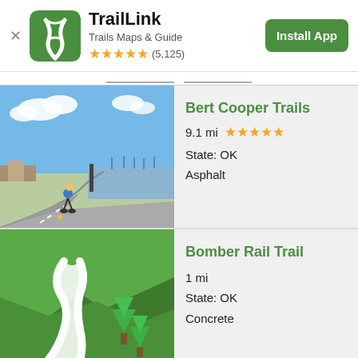TrailLink — Trails Maps & Guide — ★★★★★ (5,125) — Install App
[Figure (photo): Cyclist on paved trail near a harbor with boats and blue sky]
Bert Cooper Trails
9.1 mi ★★★★★
State: OK
Asphalt
[Figure (illustration): Green illustrated landscape with winding white path and pine trees]
Bomber Rail Trail
1 mi
State: OK
Concrete